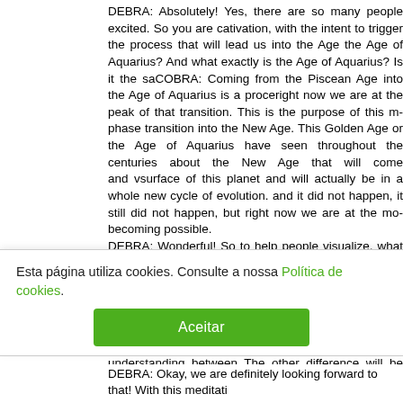DEBRA: Absolutely! Yes, there are so many people excited. So you are calling for activation, with the intent to trigger the process that will lead us into the Age of — the Age of Aquarius? And what exactly is the Age of Aquarius? Is it the same — COBRA: Coming from the Piscean Age into the Age of Aquarius is a process, and right now we are at the peak of that transition. This is the purpose of this meditation — phase transition into the New Age. This Golden Age or the Age of Aquarius — have seen throughout the centuries about the New Age that will come and visit the surface of this planet and will actually be in a whole new cycle of evolution. — and it did not happen, it still did not happen, but right now we are at the moment becoming possible. DEBRA: Wonderful! So to help people visualize, what kind of world will we be in — what would a typical day in the Age of Aquarius look like? COBRA: There are many differences between what society looks like now and the beginning of the Age of Aquarius. One of the major differences will be the vibration — will be full of real love and real support and mutual understanding between — The other difference will be the awareness of the connection with your own — The third difference will be the widespread understanding that this whole Universe — different races inhabiting many solar systems and there will be active contact with other star races. This will be a common occurrence. We will be joining galactic society, and average day will be completely different from now. There will be no more need to struggle for survival to do regular jobs in — There will be a completely new paradigm where you will be living each day — whatever is the highest purpose for every day, which might be completely different — DEBRA: Wow! So is there a connection to the Age of Aquarius and Atlantis — Atlantis, and if they did, did it help change the course of events? COBRA: Yes, actually Atlantis has three phases. The first phase of Atlantis — DEBRA: Okay, we are definitely looking forward to that! With this meditation —
Esta página utiliza cookies. Consulte a nossa Política de cookies.
Aceitar